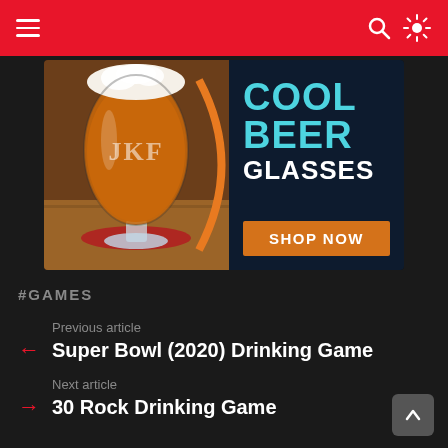Navigation bar with hamburger menu and search/settings icons
[Figure (photo): Advertisement banner for cool beer glasses showing a monogrammed JKF goblet beer glass on the left and dark navy background with text 'COOL BEER GLASSES' in cyan and white, with orange 'SHOP NOW' button on the right]
#GAMES
Previous article
Super Bowl (2020) Drinking Game
Next article
30 Rock Drinking Game